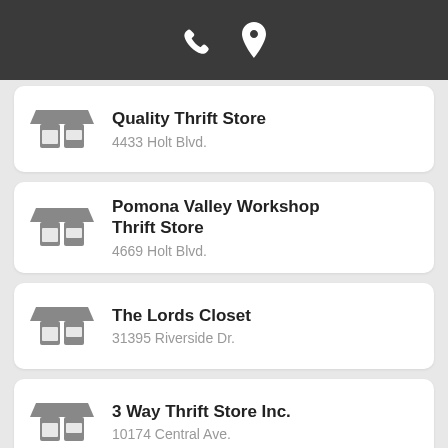[Figure (screenshot): Mobile app header bar with phone and map pin icons on dark background]
Quality Thrift Store
4433 Holt Blvd.
Pomona Valley Workshop Thrift Store
4669 Holt Blvd.
The Lords Closet
31395 Riverside Dr.
3 Way Thrift Store Inc.
10174 Central Ave.